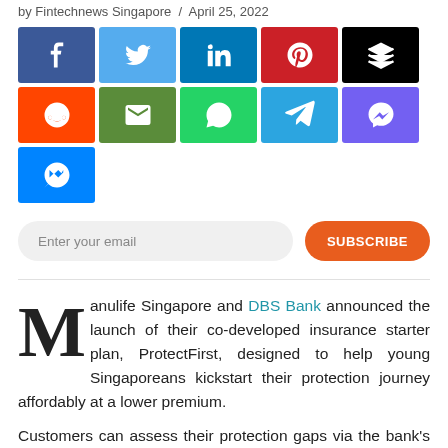by Fintechnews Singapore / April 25, 2022
[Figure (other): Social media sharing buttons grid: Facebook, Twitter, LinkedIn, Pinterest, Layers (Save), Reddit, Email, WhatsApp, Telegram, Viber, Messenger]
[Figure (other): Email subscription bar with 'Enter your email' input and orange 'SUBSCRIBE' button]
Manulife Singapore and DBS Bank announced the launch of their co-developed insurance starter plan, ProtectFirst, designed to help young Singaporeans kickstart their protection journey affordably at a lower premium.
Customers can assess their protection gaps via the bank's digital AI-powered financial planning tool DBS